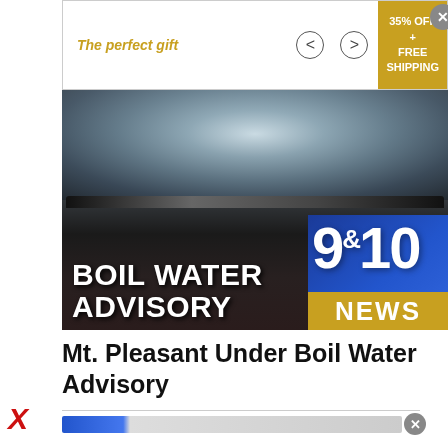[Figure (screenshot): Advertisement banner: 'The perfect gift' with navigation arrows and '35% OFF + FREE SHIPPING' gold promo box]
[Figure (photo): News broadcast thumbnail showing a pot of boiling water with text overlay 'BOIL WATER ADVISORY' and 9&10 News logo]
Mt. Pleasant Under Boil Water Advisory